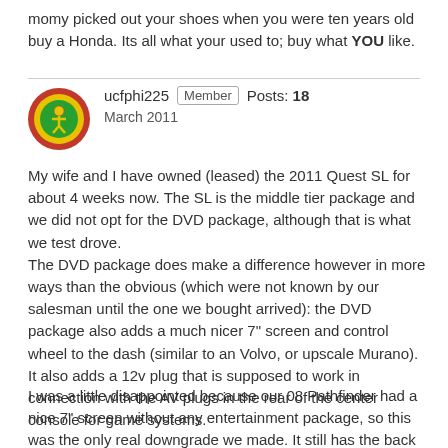momy picked out your shoes when you were ten years old buy a Honda. Its all what your used to; buy what YOU like.
[Figure (illustration): Forum user avatar: circular icon with red outer ring, yellow inner ring, and green center with a stylized figure/logo]
ucfphi225   Member   Posts: 18
March 2011
My wife and I have owned (leased) the 2011 Quest SL for about 4 weeks now. The SL is the middle tier package and we did not opt for the DVD package, although that is what we test drove.
The DVD package does make a difference however in more ways than the obvious (which were not known by our salesman until the one we bought arrived): the DVD package also adds a much nicer 7" screen and control wheel to the dash (similar to an Volvo, or upscale Murano). It also adds a 12v plug that is supposed to work in connection with the AV plugs in the rear of the center console for game systems.
I was a little disappointed because our 08 Pathfinder had a nice 7" screen without any entertainment package, so this was the only real downgrade we made. It still has the back up